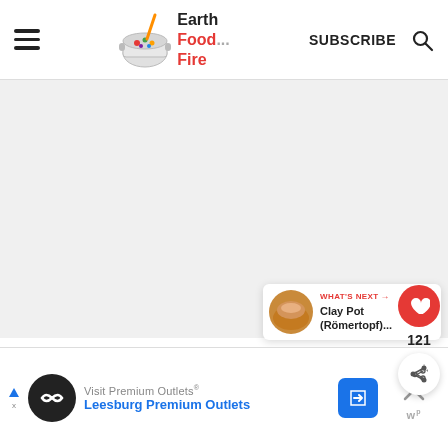Earth Food Fire - SUBSCRIBE
[Figure (screenshot): Main content area of Earth Food Fire website, light grey background]
[Figure (infographic): Floating action buttons: red heart button and share button with count 121]
121
[Figure (infographic): What's Next panel showing Clay Pot (Römertopf)... with thumbnail]
WHAT'S NEXT → Clay Pot (Römertopf)...
[Figure (screenshot): Advertisement banner: Visit Premium Outlets - Leesburg Premium Outlets]
Visit Premium Outlets® Leesburg Premium Outlets